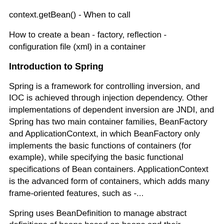context.getBean() - When to call
How to create a bean - factory, reflection - configuration file (xml) in a container
Introduction to Spring
Spring is a framework for controlling inversion, and IOC is achieved through injection dependency. Other implementations of dependent inversion are JNDI, and Spring has two main container families, BeanFactory and ApplicationContext, in which BeanFactory only implements the basic functions of containers (for example), while specifying the basic functional specifications of Bean containers. ApplicationContext is the advanced form of containers, which adds many frame-oriented features, such as -...
Spring uses BeanDefinition to manage abstract definitions of beans based on beans and their dependencies.
The difference between Benafanctory and ApplicationContext - BeanFactory only provides the most basic features and functions of the Ioc container. ApplicationContext adds many advanced features based on the extension of BeanFactory: which requires messages